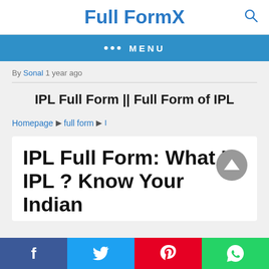Full FormX
••• MENU
By Sonal 1 year ago
IPL Full Form || Full Form of IPL
Homepage ▶ full form ▶ I
IPL Full Form: What Is IPL ? Know Your Indian